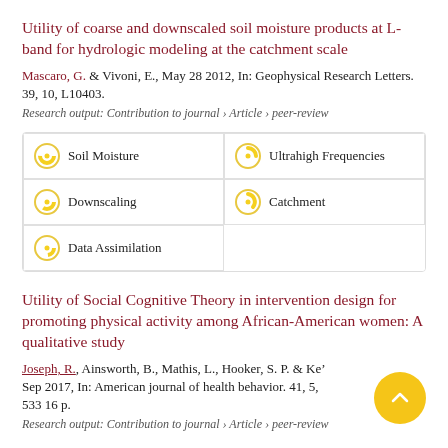Utility of coarse and downscaled soil moisture products at L-band for hydrologic modeling at the catchment scale
Mascaro, G. & Vivoni, E., May 28 2012, In: Geophysical Research Letters. 39, 10, L10403.
Research output: Contribution to journal › Article › peer-review
Soil Moisture
Ultrahigh Frequencies
Downscaling
Catchment
Data Assimilation
Utility of Social Cognitive Theory in intervention design for promoting physical activity among African-American women: A qualitative study
Joseph, R., Ainsworth, B., Mathis, L., Hooker, S. P. & Kell, Sep 2017, In: American journal of health behavior. 41, 5, 533 16 p.
Research output: Contribution to journal › Article › peer-review